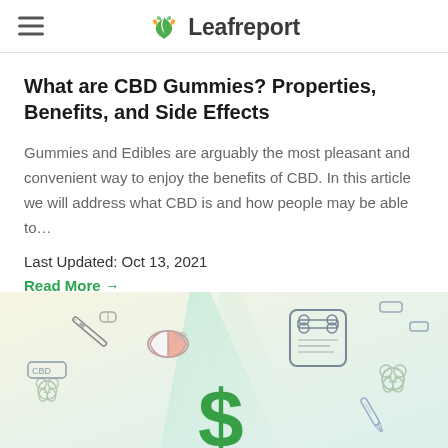Leafreport
What are CBD Gummies? Properties, Benefits, and Side Effects
Gummies and Edibles are arguably the most pleasant and convenient way to enjoy the benefits of CBD. In this article we will address what CBD is and how people may be able to…
Last Updated: Oct 13, 2021
Read More →
[Figure (illustration): Colorful illustration showing CBD-related items including a vape pen, capsule/pill, gummy bears, a dollar sign, a dog treat container, and other CBD product icons on a light green/yellow background]